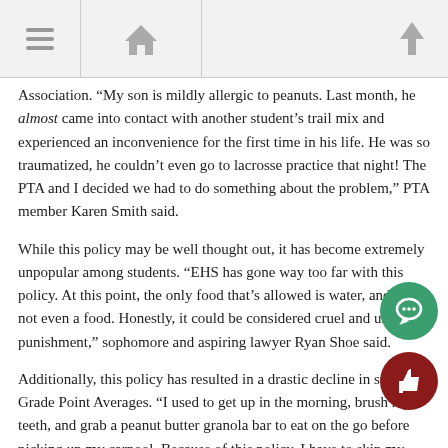Navigation toolbar with hamburger menu, home icon, and up arrow
Association. “My son is mildly allergic to peanuts. Last month, he almost came into contact with another student’s trail mix and experienced an inconvenience for the first time in his life. He was so traumatized, he couldn’t even go to lacrosse practice that night! The PTA and I decided we had to do something about the problem,” PTA member Karen Smith said.
While this policy may be well thought out, it has become extremely unpopular among students. “EHS has gone way too far with this policy. At this point, the only food that’s allowed is water, and that’s not even a food. Honestly, it could be considered cruel and unusual punishment,” sophomore and aspiring lawyer Ryan Shoe said.
Additionally, this policy has resulted in a drastic decline in students’ Grade Point Averages. “I used to get up in the morning, brush my teeth, and grab a peanut butter granola bar to eat on the go before picking up my carpool. Because of this policy, I have to skip my daily granola bar and can’t focus in school because I am too hungry. Not that I really focus in school this semester anyways,” senior Kyla Young said.
This policy has also come with significant backlash. While doors su…